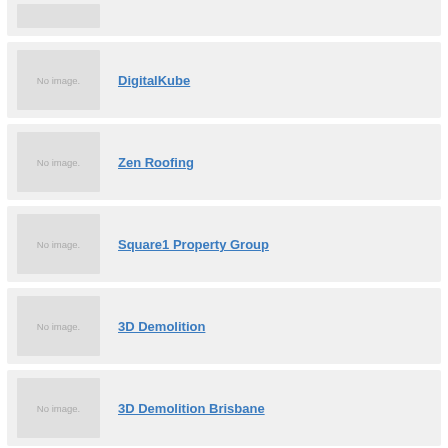(partial row - image placeholder only)
DigitalKube
Zen Roofing
Square1 Property Group
3D Demolition
3D Demolition Brisbane